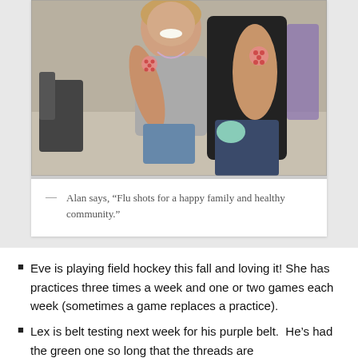[Figure (photo): Two people showing their arms with bandages/dot stickers on upper arms after receiving flu shots. One is a smiling child or teen, another is an adult in a black shirt. Taken indoors.]
— Alan says, “Flu shots for a happy family and healthy community.”
Eve is playing field hockey this fall and loving it! She has practices three times a week and one or two games each week (sometimes a game replaces a practice).
Lex is belt testing next week for his purple belt. He’s had the green one so long that the threads are